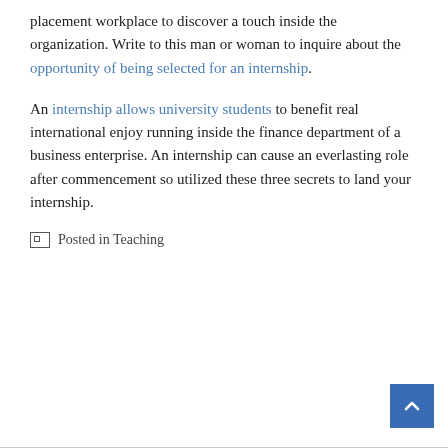placement workplace to discover a touch inside the organization. Write to this man or woman to inquire about the opportunity of being selected for an internship.
An internship allows university students to benefit real international enjoy running inside the finance department of a business enterprise. An internship can cause an everlasting role after commencement so utilized these three secrets to land your internship.
Posted in Teaching